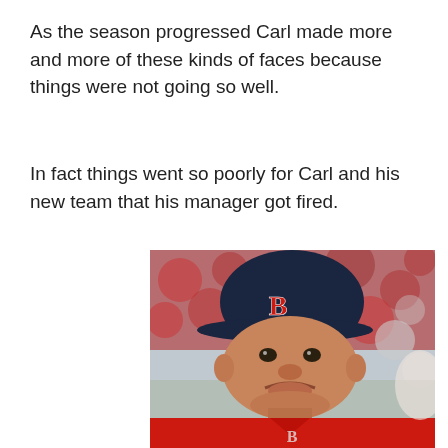As the season progressed Carl made more and more of these kinds of faces because things were not going so well.
In fact things went so poorly for Carl and his new team that his manager got fired.
[Figure (photo): A Boston Red Sox manager wearing a navy Blue B cap and red jersey making a displeased, pouty face expression on a baseball field with red stadium seats blurred in the background.]